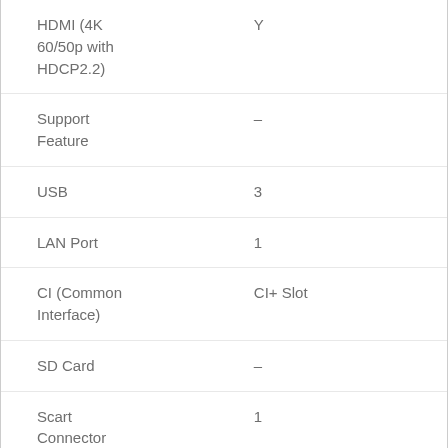| Feature | Value |
| --- | --- |
| HDMI (4K 60/50p with HDCP2.2) | Y |
| Support Feature | – |
| USB | 3 |
| LAN Port | 1 |
| CI (Common Interface) | CI+ Slot |
| SD Card | – |
| Scart Connector | 1 |
| Component Video Input shared with Composite | AVI/O: V/L/R + Y/Pb/Pr |